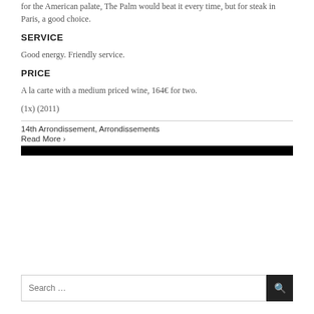for the American palate, The Palm would beat it every time, but for steak in Paris, a good choice.
SERVICE
Good energy. Friendly service.
PRICE
A la carte with a medium priced wine, 164€ for two.
(1x) (2011)
14th Arrondissement, Arrondissements
Read More ›